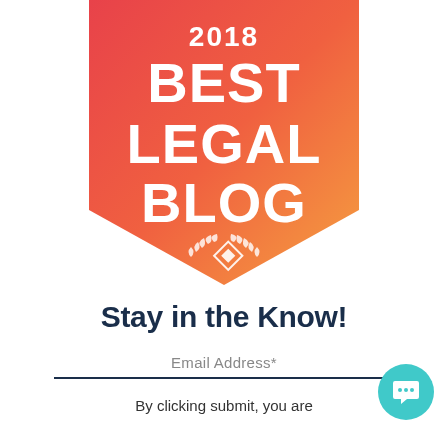[Figure (logo): 2018 Best Legal Blog award badge — shield shape with gradient from pink-red to orange, white text reading '2018 BEST LEGAL BLOG' with a wreath and diamond logo icon at bottom]
Stay in the Know!
Email Address*
By clicking submit, you are